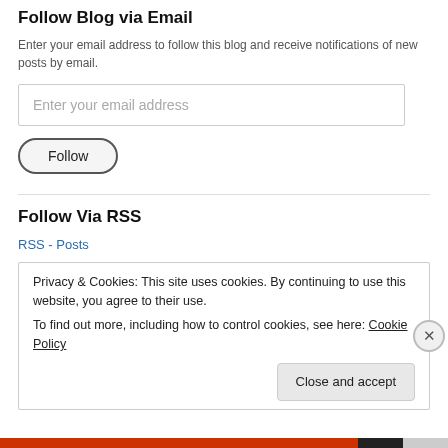Follow Blog via Email
Enter your email address to follow this blog and receive notifications of new posts by email.
Enter your email address
Follow
Follow Via RSS
RSS - Posts
Privacy & Cookies: This site uses cookies. By continuing to use this website, you agree to their use.
To find out more, including how to control cookies, see here: Cookie Policy
Close and accept